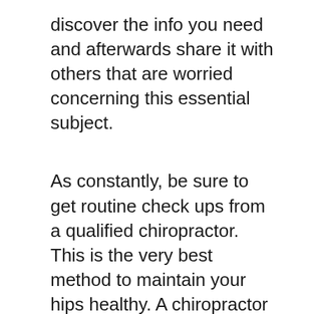discover the info you need and afterwards share it with others that are worried concerning this essential subject.
As constantly, be sure to get routine check ups from a qualified chiropractor. This is the very best method to maintain your hips healthy. A chiropractor will have the ability to recognize any issues in your pose or your hip flexor muscle mass. She or he can then deal with you to strengthen those muscles as well as to bring back the appropriate stance.
Some people experience signs comparable to those described over. This may include a